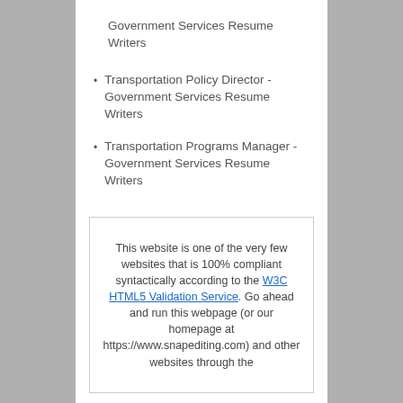Transportation Policy Director - Government Services Resume Writers
Transportation Programs Manager - Government Services Resume Writers
This website is one of the very few websites that is 100% compliant syntactically according to the W3C HTML5 Validation Service. Go ahead and run this webpage (or our homepage at https://www.snapediting.com) and other websites through the validator. You’ll